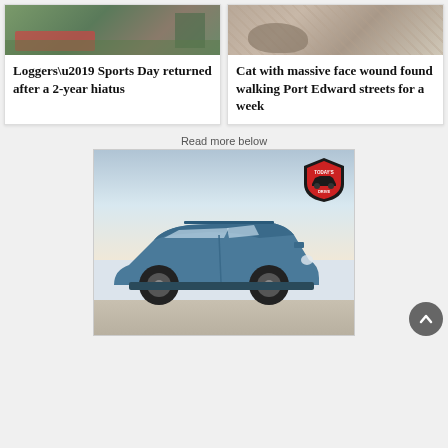[Figure (photo): Photo of people at Loggers Sports Day event outdoors]
Loggers’ Sports Day returned after a 2-year hiatus
[Figure (photo): Close-up photo of a cat with a wound]
Cat with massive face wound found walking Port Edward streets for a week
Read more below
[Figure (photo): Advertisement image showing a blue Subaru crossover SUV parked in a winter landscape with Today's Drive logo in top right corner]